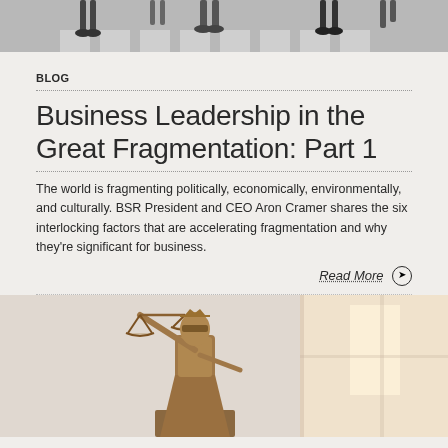[Figure (photo): Black and white photo of people walking on a crosswalk, viewed from above, legs and feet visible]
BLOG
Business Leadership in the Great Fragmentation: Part 1
The world is fragmenting politically, economically, environmentally, and culturally. BSR President and CEO Aron Cramer shares the six interlocking factors that are accelerating fragmentation and why they're significant for business.
Read More →
[Figure (photo): Photo of a Lady Justice statue (bronze/golden scales of justice figure) against a blurred bright background with windows]